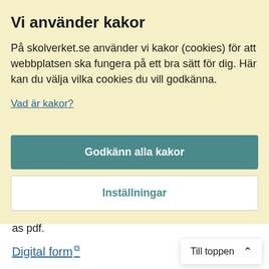Vi använder kakor
På skolverket.se använder vi kakor (cookies) för att webbplatsen ska fungera på ett bra sätt för dig. Här kan du välja vilka cookies du vill godkänna.
Vad är kakor?
Godkänn alla kakor
Inställningar
as pdf.
Digital form ⧉
By mail:
Skolverket
Till toppen ∧